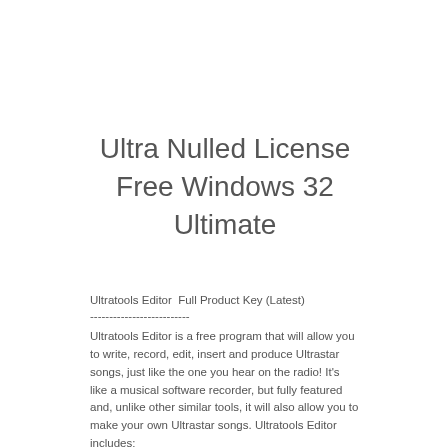Ultra Nulled License Free Windows 32 Ultimate
Ultratools Editor  Full Product Key (Latest)
--------------------------
Ultratools Editor is a free program that will allow you to write, record, edit, insert and produce Ultrastar songs, just like the one you hear on the radio! It's like a musical software recorder, but fully featured and, unlike other similar tools, it will also allow you to make your own Ultrastar songs. Ultratools Editor includes: